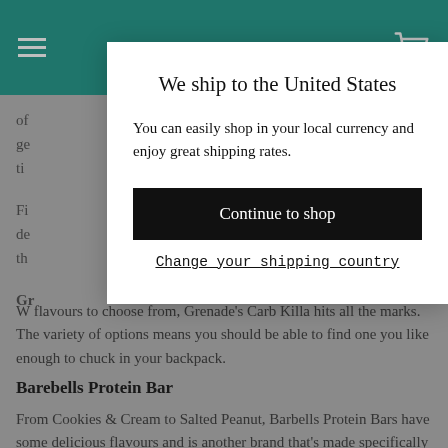of
ge
ti
Fi
de
th
Gr
W flavours to choose from, Grenade's Carb Killa hits all the marks. The variety of options means you should be able to find one you like enough to chuck in your backpack.
Barebells Protein Bar
From Cookies & Cream to Salted Peanut, Barbells Protein Bars have some delicious flavours and is another brand that's made specifically for athleten looking for a protein
We ship to the United States
You can easily shop in your local currency and enjoy great shipping rates.
Continue to shop
Change your shipping country